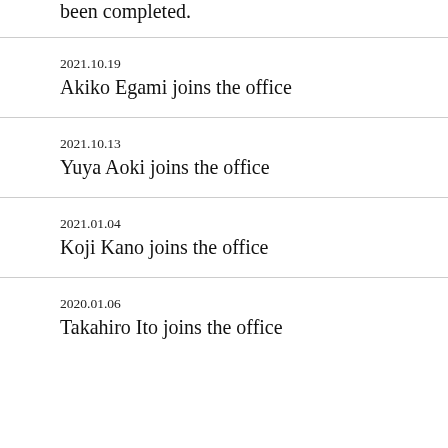been completed.
2021.10.19
Akiko Egami joins the office
2021.10.13
Yuya Aoki joins the office
2021.01.04
Koji Kano joins the office
2020.01.06
Takahiro Ito joins the office